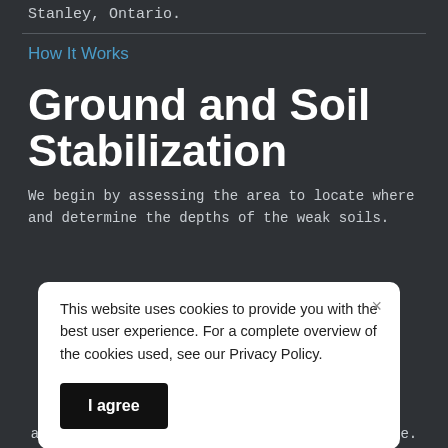Stanley, Ontario.
How It Works
Ground and Soil Stabilization
We begin by assessing the area to locate where and determine the depths of the weak soils.
This website uses cookies to provide you with the best user experience. For a complete overview of the cookies used, see our Privacy Policy.
I agree
and binds loose soils to create a stable base.